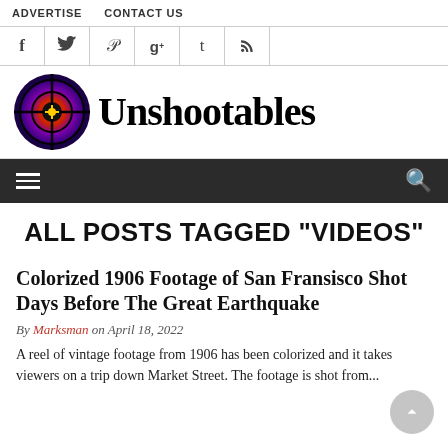ADVERTISE   CONTACT US
[Figure (infographic): Social media icons row: Facebook (f), Twitter (bird), Pinterest (p), Google+ (g+), Tumblr (t), RSS feed icon]
[Figure (logo): Unshootables logo with crosshair/target graphic in purple-blue and red-orange gradient on left, and bold serif text 'Unshootables' on right]
Navigation bar with hamburger menu icon and search icon
ALL POSTS TAGGED "VIDEOS"
Colorized 1906 Footage of San Fransisco Shot Days Before The Great Earthquake
By Marksman on April 18, 2022
A reel of vintage footage from 1906 has been colorized and it takes viewers on a trip down Market Street. The footage is shot from...